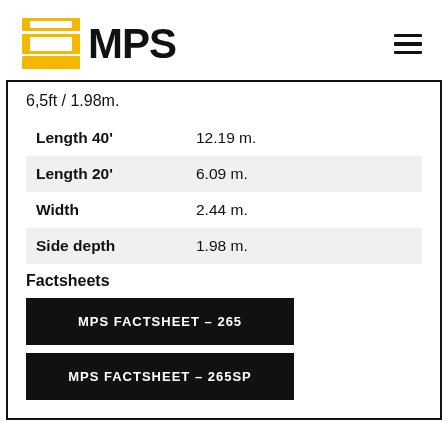MPS logo and navigation
6,5ft / 1.98m.
| Property | Value |
| --- | --- |
| Length 40' | 12.19 m. |
| Length 20' | 6.09 m. |
| Width | 2.44 m. |
| Side depth | 1.98 m. |
Factsheets
MPS FACTSHEET – 265
MPS FACTSHEET – 265SP